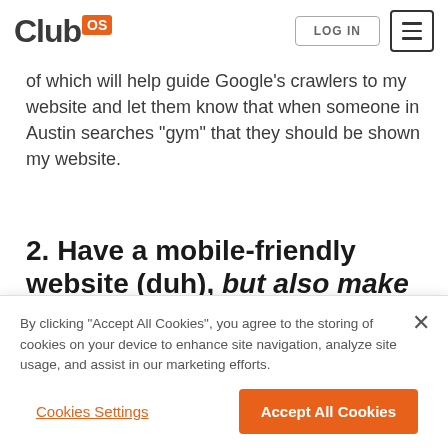Club OS | LOG IN | Menu
of which will help guide Google’s crawlers to my website and let them know that when someone in Austin searches “gym” that they should be shown my website.
2. Have a mobile-friendly website (duh), but also make sure it loads
By clicking “Accept All Cookies”, you agree to the storing of cookies on your device to enhance site navigation, analyze site usage, and assist in our marketing efforts.
Cookies Settings | Accept All Cookies